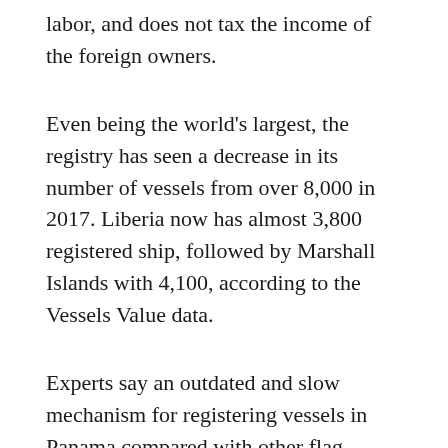labor, and does not tax the income of the foreign owners.
Even being the world's largest, the registry has seen a decrease in its number of vessels from over 8,000 in 2017. Liberia now has almost 3,800 registered ship, followed by Marshall Islands with 4,100, according to the Vessels Value data.
Experts say an outdated and slow mechanism for registering vessels in Panama compared with other flag countries is the culprit of the falling number.
Panama, which this year announced it will improve the payment mechanism for its registry to speed up the